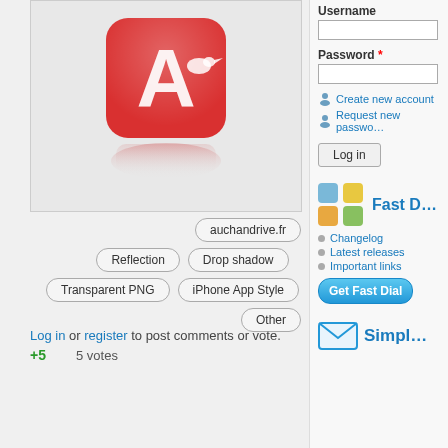[Figure (screenshot): Auchan Drive app icon - red rounded square with white letter A and bird silhouette, with reflection below, on light grey background]
auchandrive.fr
Reflection
Drop shadow
Transparent PNG
iPhone App Style
Other
Log in or register to post comments or vote.
+5   5 votes
Username
Password *
Create new account
Request new password
Log in
[Figure (screenshot): Fast Dial widget with colored grid tiles (blue, yellow, orange, green) and Fast D text]
Changelog
Latest releases
Important links
Get Fast Dial
[Figure (screenshot): Email/Simpl widget with envelope icon and Simpl text]